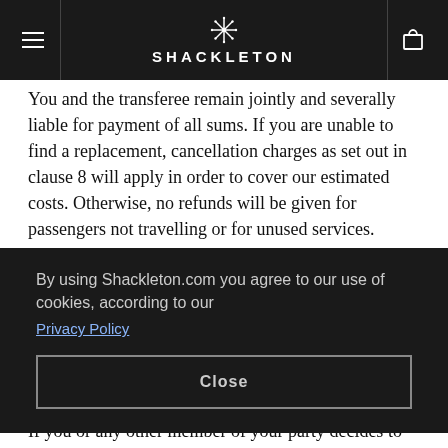SHACKLETON
You and the transferee remain jointly and severally liable for payment of all sums. If you are unable to find a replacement, cancellation charges as set out in clause 8 will apply in order to cover our estimated costs. Otherwise, no refunds will be given for passengers not travelling or for unused services.
By using Shackleton.com you agree to our use of cookies, according to our Privacy Policy
Close
If you or any other member of your party decides to